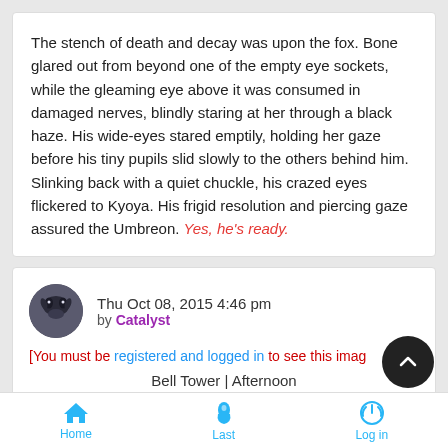The stench of death and decay was upon the fox. Bone glared out from beyond one of the empty eye sockets, while the gleaming eye above it was consumed in damaged nerves, blindly staring at her through a black haze. His wide-eyes stared emptily, holding her gaze before his tiny pupils slid slowly to the others behind him. Slinking back with a quiet chuckle, his crazed eyes flickered to Kyoya. His frigid resolution and piercing gaze assured the Umbreon. Yes, he's ready.
Thu Oct 08, 2015 4:46 pm
by Catalyst
[You must be registered and logged in to see this image
Bell Tower | Afternoon
Home | Last | Log in